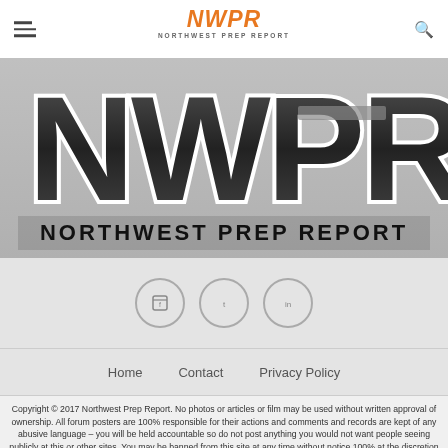NWPR NORTHWEST PREP REPORT
[Figure (logo): Large NWPR Northwest Prep Report logo with bold black stylized letters on dark gradient background with NORTHWEST PREP REPORT text below]
[Figure (infographic): Three circular social media icon buttons in a row]
Home   Contact   Privacy Policy
Copyright © 2017 Northwest Prep Report. No photos or articles or film may be used without written approval of ownership. All forum posters are 100% responsible for their actions and comments and records are kept of any abusive language – you will be held accountable so do not post anything you would not want people seeing publicly at this or other sites. You may be banned from this site at any time without notice 100% at the discretion of site management. Your use of this site is your acknowledgment that you understand and agree to these terms.